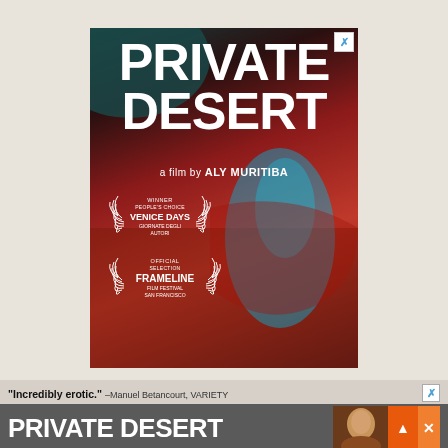[Figure (illustration): Movie poster for 'Private Desert', a film by Aly Muritiba. Large bold white text reads PRIVATE DESERT on a dark red/teal background with a glowing blue figure. Features Venice Days Winner People's Choice laurel and Frameline Film Festival San Francisco Official Selection laurel. Small X close button in top right corner.]
[Figure (illustration): Bottom banner advertisement for Private Desert. Quote: 'Incredibly erotic.' —Manuel Betancourt, VARIETY. Large white text: PRIVATE DESERT with photo of person on right. Orange scroll up button and X close button.]